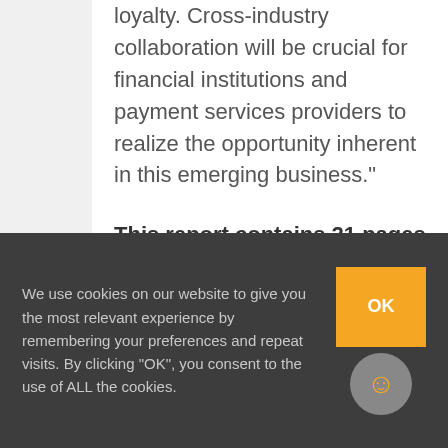loyalty. Cross-industry collaboration will be crucial for financial institutions and payment services providers to realize the opportunity inherent in this emerging business."
This report contains 21 pages and 4 exhibits.
Companies mentioned in this report include: Affinity Solutions,
We use cookies on our website to give you the most relevant experience by remembering your preferences and repeat visits. By clicking "OK", you consent to the use of ALL the cookies.